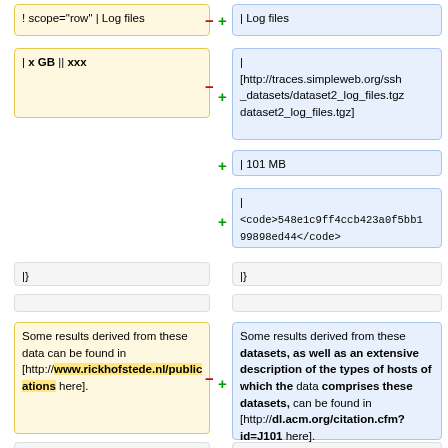! scope="row" | Log files
| Log files
| x GB || xxx
|
[http://traces.simpleweb.org/ssh_datasets/dataset2_log_files.tgz dataset2_log_files.tgz]
| 101 MB
|
<code>548e1c9ff4ccb423a0f5bb199898ed44</code>
|}
|}
Some results derived from these data can be found in [http://www.rickhofstede.nl/publications here].
Some results derived from these datasets, as well as an extensive description of the types of hosts of which the data comprises these datasets, can be found in [http://dl.acm.org/citation.cfm?id=J101 here].